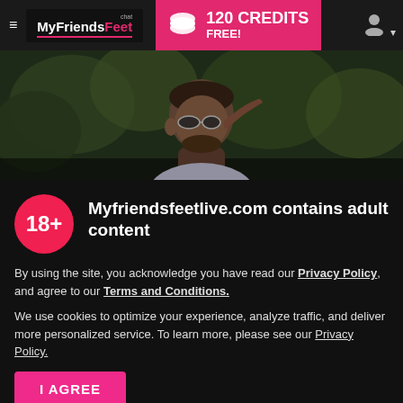[Figure (screenshot): Website navigation bar for MyFriendsFeet.chat with hamburger menu, logo, 120 Credits FREE pink banner, and user icon]
[Figure (photo): Man with sunglasses adjusting them, dark outdoor background with greenery]
Myfriendsfeetlive.com contains adult content
By using the site, you acknowledge you have read our Privacy Policy, and agree to our Terms and Conditions.
We use cookies to optimize your experience, analyze traffic, and deliver more personalized service. To learn more, please see our Privacy Policy.
I AGREE